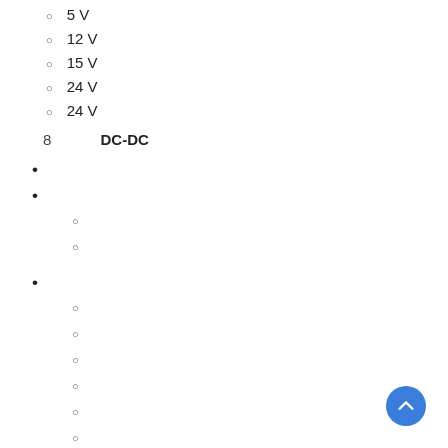5 V
12 V
15 V
24 V
24 V
8　　　DC-DC